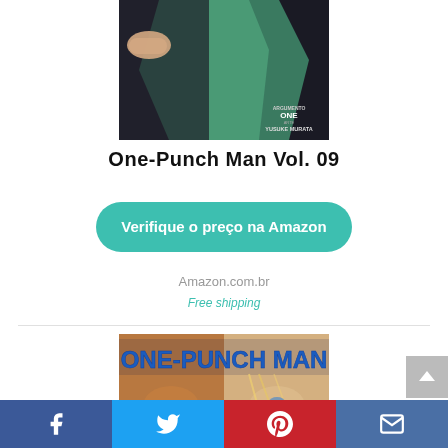[Figure (illustration): Top portion of One-Punch Man Vol. 09 manga cover, showing a character in a green and black outfit. Author credit: ONE and YUSUKE MURATA.]
One-Punch Man Vol. 09
Verifique o preço na Amazon
Amazon.com.br
Free shipping
[Figure (illustration): Bottom portion of another One-Punch Man manga volume cover showing two characters with blue title text ONE-PUNCH MAN.]
Facebook | Twitter | Pinterest | Email